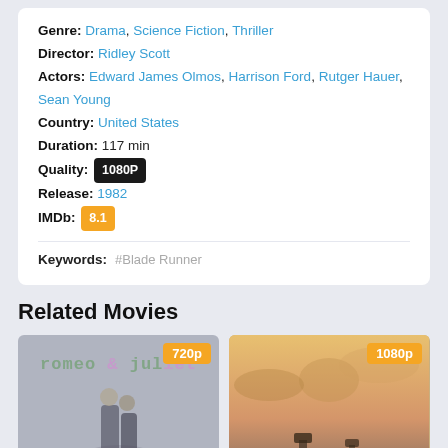Genre: Drama, Science Fiction, Thriller
Director: Ridley Scott
Actors: Edward James Olmos, Harrison Ford, Rutger Hauer, Sean Young
Country: United States
Duration: 117 min
Quality: 1080P
Release: 1982
IMDb: 8.1
Keywords: #Blade Runner
Related Movies
[Figure (photo): Movie thumbnail for Romeo & Juliet with quality badge 720p]
[Figure (photo): Movie thumbnail with quality badge 1080p, horizon/sky scene]